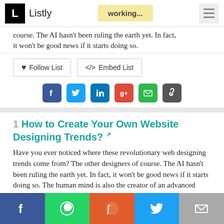Listly | working...
course. The AI hasn't been ruling the earth yet. In fact, it won't be good news if it starts doing so.
Follow List   </> Embed List
[Figure (infographic): Social share icons: Facebook, Twitter, LinkedIn, Google+, Email, Link]
1  How to Create Your Own Website Designing Trends?
Have you ever noticed where these revolutionary web designing trends come from? The other designers of course. The AI hasn't been ruling the earth yet. In fact, it won't be good news if it starts doing so. The human mind is also the creator of an advanced mechanical mind. So how can you doubt your designer instinct to bring the future?
[Figure (infographic): Bottom share bar with Facebook, WhatsApp, Reddit, Twitter, Email buttons]